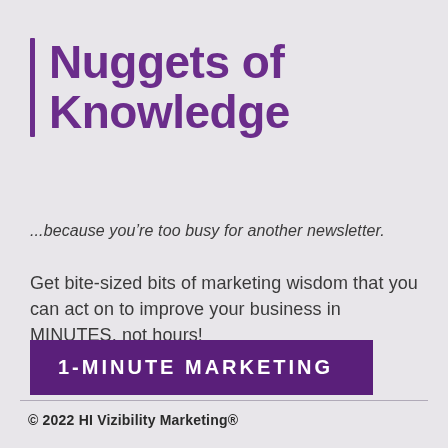Nuggets of Knowledge
...because you’re too busy for another newsletter.
Get bite-sized bits of marketing wisdom that you can act on to improve your business in MINUTES, not hours!
1-MINUTE MARKETING
© 2022 HI Vizibility Marketing®